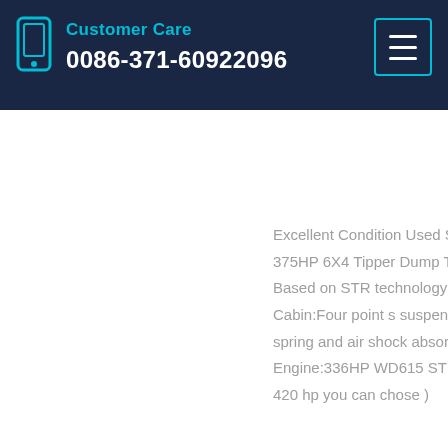Customer Care
0086-371-60922096
Excellent Condition Used Sinotruk HOWO 371HP 375HP 6X4 Tipper Dump Truck for Africa Market 1. Based on STR technology from Austria 2. Cabin:Four point s suspension HOWO Cabin with spring and air shock absorber, VDO panel 4. Engine:336HP WD615 STR engine ( from 290hp - 420 hp you can chose )
Learn More
[Figure (illustration): Partial thumbnail image visible at bottom of page, appears to be a truck product image with red and white colors]
Used Howo Truck